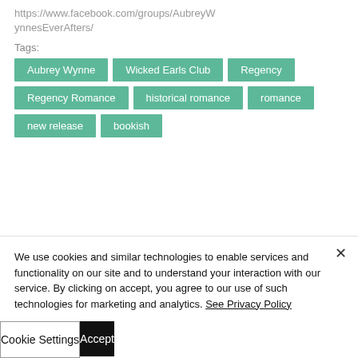https://www.facebook.com/groups/AubreyWynnesEverAfters/
Tags:
Aubrey Wynne
Wicked Earls Club
Regency
Regency Romance
historical romance
romance
new release
bookish
We use cookies and similar technologies to enable services and functionality on our site and to understand your interaction with our service. By clicking on accept, you agree to our use of such technologies for marketing and analytics. See Privacy Policy
Cookie Settings
Accept